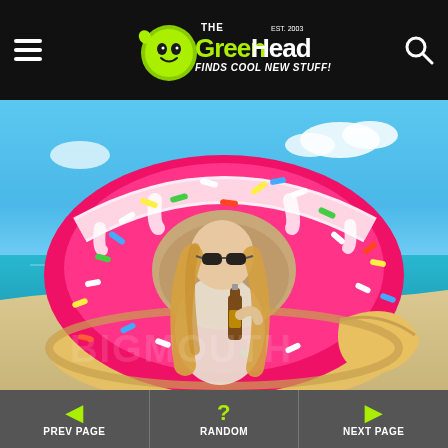The Green Head - Finds Cool New Stuff!
[Figure (photo): A woman wearing sunglasses holding a beer bottle, floating inside a giant inflatable pink donut with colorful sprinkles at a beach with blue sky and turquoise water.]
Pools
PREV PAGE | RANDOM | NEXT PAGE